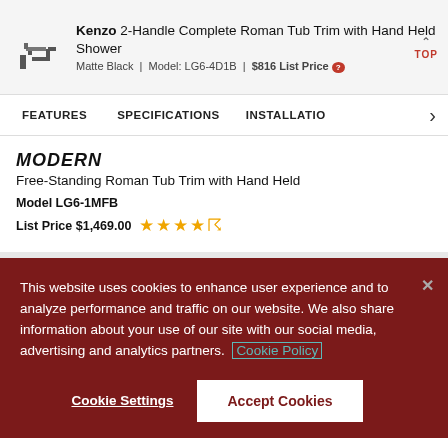Kenzo 2-Handle Complete Roman Tub Trim with Hand Held Shower | Matte Black | Model: LG6-4D1B | $816 List Price
FEATURES | SPECIFICATIONS | INSTALLATION
MODERN
Free-Standing Roman Tub Trim with Hand Held
Model LG6-1MFB
List Price $1,469.00 ★★★★½
This website uses cookies to enhance user experience and to analyze performance and traffic on our website. We also share information about your use of our site with our social media, advertising and analytics partners. Cookie Policy
Cookie Settings | Accept Cookies